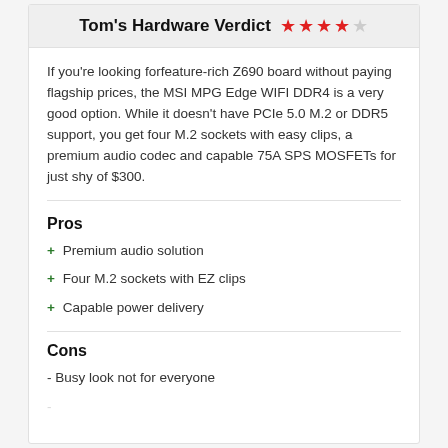Tom's Hardware Verdict ★★★★☆
If you're looking forfeature-rich Z690 board without paying flagship prices, the MSI MPG Edge WIFI DDR4 is a very good option. While it doesn't have PCIe 5.0 M.2 or DDR5 support, you get four M.2 sockets with easy clips, a premium audio codec and capable 75A SPS MOSFETs for just shy of $300.
Pros
+ Premium audio solution
+ Four M.2 sockets with EZ clips
+ Capable power delivery
Cons
- Busy look not for everyone